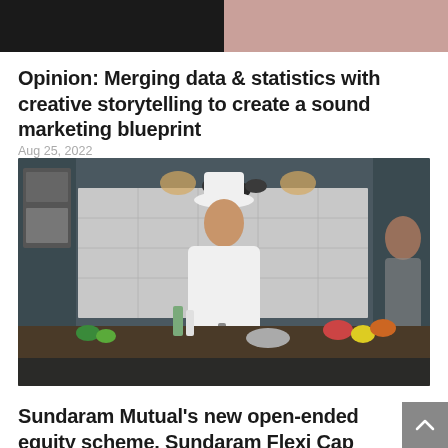[Figure (photo): Top banner split image: left half dark/black background, right half skin-toned background (partial face or portrait)]
Opinion: Merging data & statistics with creative storytelling to create a sound marketing blueprint
Aug 25, 2022
[Figure (photo): A chef in white uniform and chef's hat standing in a professional kitchen, holding a ladle, with kitchen equipment and fresh vegetables visible]
Sundaram Mutual's new open-ended equity scheme, Sundaram Flexi Cap Fund Campaign, crosses 10M views on YouTube